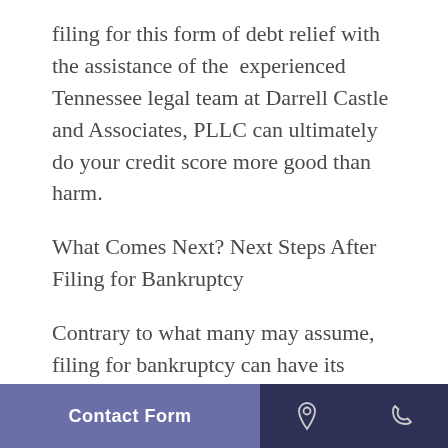filing for this form of debt relief with the assistance of the experienced Tennessee legal team at Darrell Castle and Associates, PLLC can ultimately do your credit score more good than harm.
What Comes Next? Next Steps After Filing for Bankruptcy
Contrary to what many may assume, filing for bankruptcy can have its advantages. Bankruptcy may have negative implications, but for some it might be the best option. It can even come with positive effects depending on your financial
Contact Form